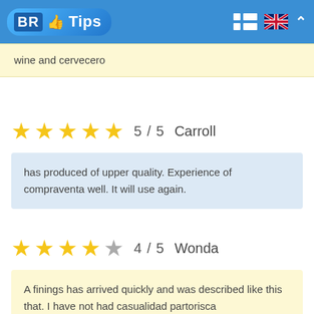[Figure (logo): BR Tips logo with thumbs up icon on blue rounded rectangle, with grid-list icon, UK flag, and chevron up in blue header bar]
wine and cervecero
★★★★★ 5 / 5  Carroll
has produced of upper quality. Experience of compraventa well. It will use again.
★★★★☆ 4 / 5  Wonda
A finings has arrived quickly and was described like this that. I have not had casualidad partorisca